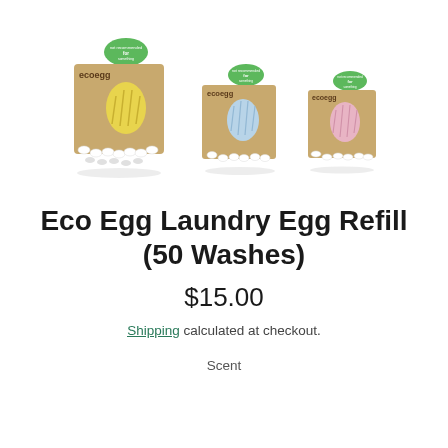[Figure (photo): Three Eco Egg Laundry Egg Refill product boxes displayed side by side. Each box is brown kraft cardboard with a colored egg illustration on front and a green badge at top. The left box has a yellow egg, the middle has a light blue egg, and the right has a pink egg.]
Eco Egg Laundry Egg Refill (50 Washes)
$15.00
Shipping calculated at checkout.
Scent